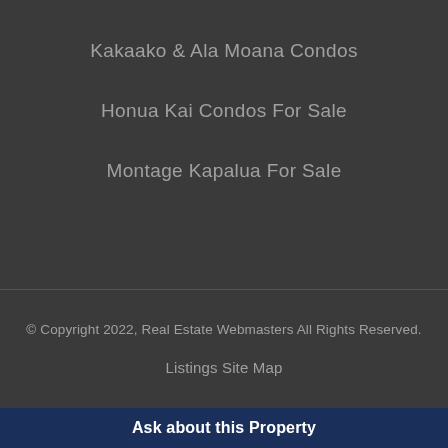Kakaako & Ala Moana Condos
Honua Kai Condos For Sale
Montage Kapalua For Sale
© Copyright 2022, Real Estate Webmasters All Rights Reserved.
Listings Site Map
Ask about this Property